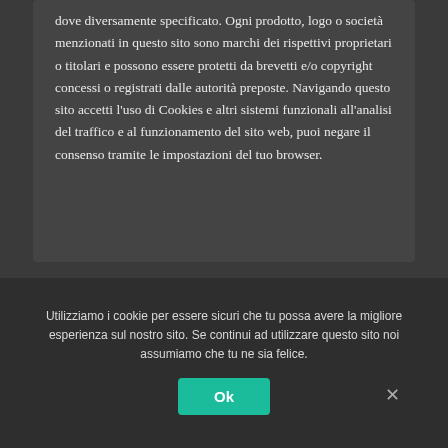dove diversamente specificato. Ogni prodotto, logo o società menzionati in questo sito sono marchi dei rispettivi proprietari o titolari e possono essere protetti da brevetti e/o copyright concessi o registrati dalle autorità preposte. Navigando questo sito accetti l'uso di Cookies e altri sistemi funzionali all'analisi del traffico e al funzionamento del sito web, puoi negare il consenso tramite le impostazioni del tuo browser.
Utilità
Utilizziamo i cookie per essere sicuri che tu possa avere la migliore esperienza sul nostro sito. Se continui ad utilizzare questo sito noi assumiamo che tu ne sia felice.